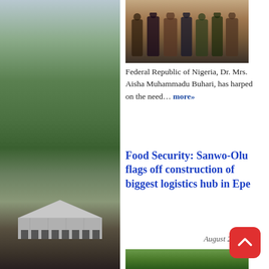[Figure (photo): Group photo of people standing together, partially visible at top of page]
Federal Republic of Nigeria, Dr. Mrs. Aisha Muhammadu Buhari, has harped on the need… more»
Food Security: Sanwo-Olu flags off construction of biggest logistics hub in Epe
August 24, 2022
[Figure (photo): Aerial view of a large logistics hub / warehouse complex surrounded by green landscape in Epe]